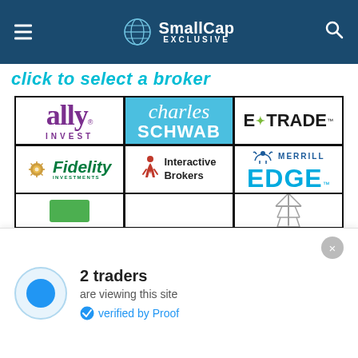SmallCap EXCLUSIVE
click to select a broker
[Figure (logo): 3x3 grid of broker logos: Ally Invest, Charles Schwab (highlighted in blue), E*TRADE, Fidelity Investments, Interactive Brokers, Merrill Edge, plus partial third row with two more logos]
2 traders
are viewing this site
verified by Proof